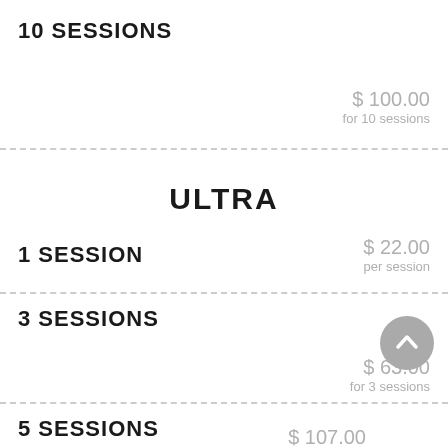10 SESSIONS
$ 100.00
for 10 sessions
ULTRA
1 SESSION
$ 22.00
per session
3 SESSIONS
$ 63.00
for 3 sessions
5 SESSIONS
$ 107.00